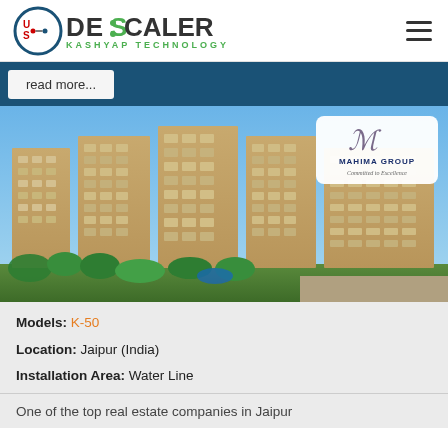US Descaler – Kashyap Technology
read more...
[Figure (photo): Exterior photo of a large multi-story residential apartment complex by Mahima Group, with a blue sky background and greenery in the foreground. The Mahima Group logo badge is visible in the top-right corner of the image.]
Models: K-50
Location: Jaipur (India)
Installation Area: Water Line
One of the top real estate companies in Jaipur